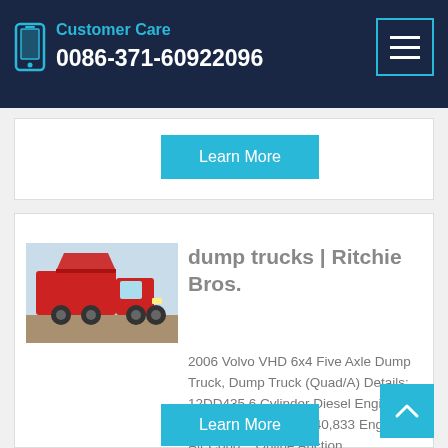Customer Care
0086-371-60922096
Learn More
dump trucks | Ritchie Bros.
2006 Volvo VHD 6x4 Five Axle Dump Truck, Dump Truck (Quad/A) Details: 12DD435 6 Cylinder Diesel Engine, 2005 US EPA Label, 40,833 Engine hrs, Air Cond... Online Auction
Learn More